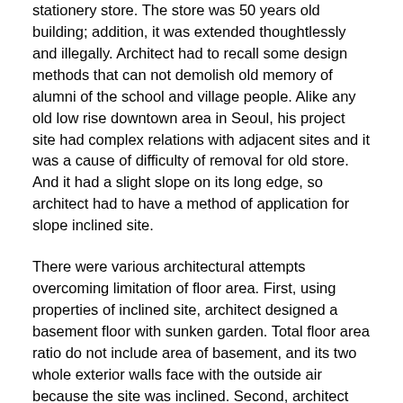stationery store. The store was 50 years old building; addition, it was extended thoughtlessly and illegally. Architect had to recall some design methods that can not demolish old memory of alumni of the school and village people. Alike any old low rise downtown area in Seoul, his project site had complex relations with adjacent sites and it was a cause of difficulty of removal for old store. And it had a slight slope on its long edge, so architect had to have a method of application for slope inclined site.
There were various architectural attempts overcoming limitation of floor area. First, using properties of inclined site, architect designed a basement floor with sunken garden. Total floor area ratio do not include area of basement, and its two whole exterior walls face with the outside air because the site was inclined. Second, architect designed ground floors as multi stage module for procuring effectiveness of usability. Specially in rental units, architect designed wide toilet and shower room, big kitchen area and two attics on the other side. Those were some spatial solutions of lifestyle for young age